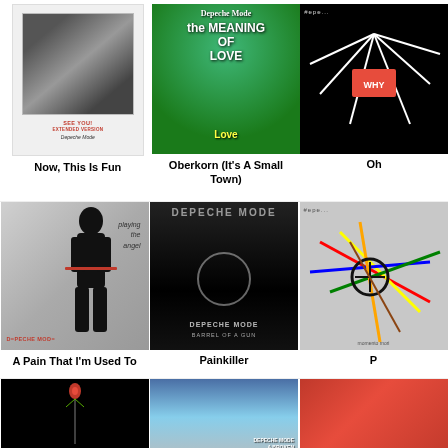[Figure (photo): Depeche Mode 'See You' album cover - black and white photo with text]
Now, This Is Fun
[Figure (photo): Depeche Mode 'The Meaning of Love' album cover - colorful with flowers and text]
Oberkorn (It's A Small Town)
[Figure (photo): Depeche Mode album cover - black background with white lines and red element]
Oh
[Figure (photo): Depeche Mode 'Playing the Angel' album cover - grey tones with black figure]
A Pain That I'm Used To
[Figure (photo): Depeche Mode 'Barrel of a Gun' album cover - dark with band name]
Painkiller
[Figure (photo): Depeche Mode album cover - grey with colorful lines]
P
[Figure (photo): Depeche Mode album cover - black with red rose]
[Figure (photo): Depeche Mode 'A Broken Frame' album cover - sky and landscape]
[Figure (photo): Depeche Mode album cover - red gradient]